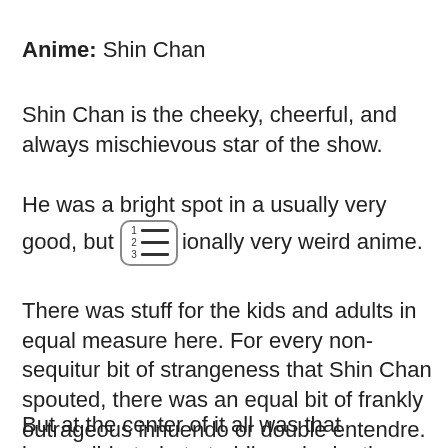Anime: Shin Chan
Shin Chan is the cheeky, cheerful, and always mischievous star of the show.
He was a bright spot in a usually very good, but occasionally very weird anime.
There was stuff for the kids and adults in equal measure here. For every non-sequitur bit of strangeness that Shin Chan spouted, there was an equal bit of frankly outrageous innuendo or double entendre.
But at the center of it all was that impossible-to-hate toddler, who by the standards of the English dub of the show, could spout dirty one-liners that would make a